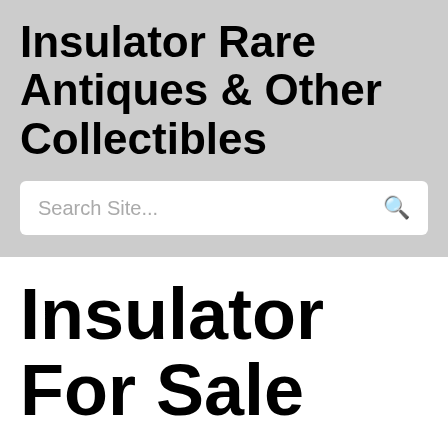Insulator Rare Antiques & Other Collectibles
Search Site...
Insulator For Sale